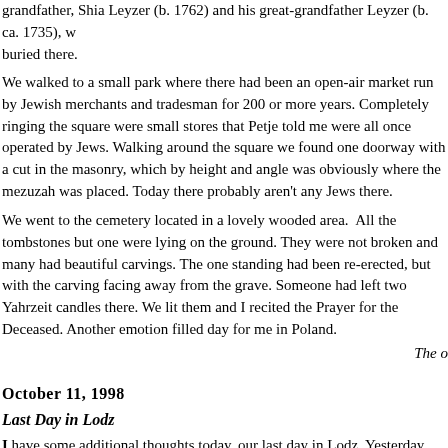grandfather, Shia Leyzer (b. 1762) and his great-grandfather Leyzer (b. ca. 1735), w buried there.
We walked to a small park where there had been an open-air market run by Jewish merchants and tradesman for 200 or more years. Completely ringing the square were small stores that Petje told me were all once operated by Jews. Walking around the square we found one doorway with a cut in the masonry, which by height and angle was obviously where the mezuzah was placed. Today there probably aren't any Jews there.
We went to the cemetery located in a lovely wooded area.  All the tombstones but one were lying on the ground. They were not broken and many had beautiful carvings. The one standing had been re-erected, but with the carving facing away from the grave. Someone had left two Yahrzeit candles there. We lit them and I recited the Prayer for the Deceased. Another emotion filled day for me in Poland.
The o
October 11, 1998
Last Day in Lodz
I have some additional thoughts today, our last day in Lodz. Yesterday, Petje took m Weiss (Wais) family, my mother's side, lived. The building no longer stands. It was